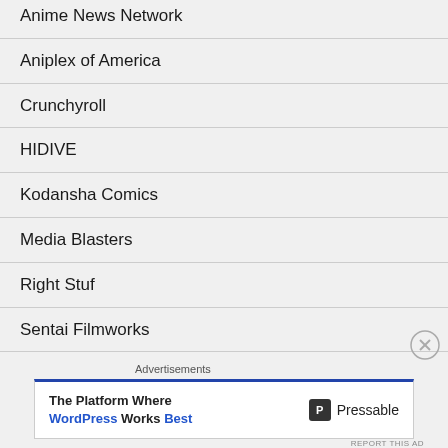Anime News Network
Aniplex of America
Crunchyroll
HIDIVE
Kodansha Comics
Media Blasters
Right Stuf
Sentai Filmworks
[Figure (other): Advertisement banner for Pressable WordPress hosting with close button and report ad link]